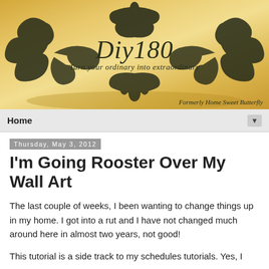[Figure (logo): Diy180 blog header banner with decorative baroque ornamental frame on golden/tan background. Text reads 'Diy180' in italic script with tagline 'Turn your ordinary into extraordinary'. Bottom right reads 'Formerly Home Sweet Butterfly'.]
Home ▼
Thursday, May 3, 2012
I'm Going Rooster Over My Wall Art
The last couple of weeks, I been wanting to change things up in my home. I got into a rut and I have not changed much around here in almost two years, not good!
This tutorial is a side track to my schedules tutorials. Yes, I